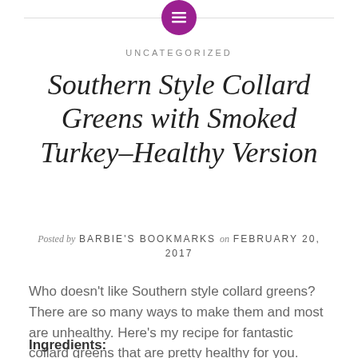[Figure (logo): Purple circular logo with white horizontal lines icon]
UNCATEGORIZED
Southern Style Collard Greens with Smoked Turkey–Healthy Version
Posted by BARBIE'S BOOKMARKS on FEBRUARY 20, 2017
Who doesn't like Southern style collard greens? There are so many ways to make them and most are unhealthy. Here's my recipe for fantastic collard greens that are pretty healthy for you.
Ingredients: